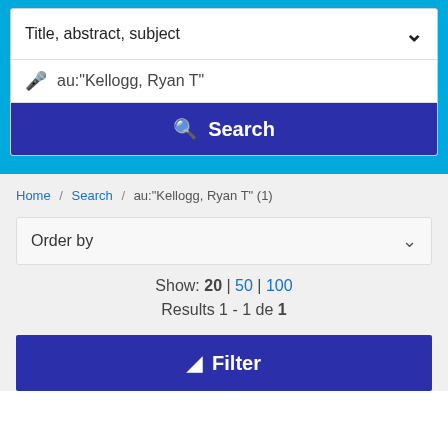Title, abstract, subject
au:"Kellogg, Ryan T"
Search
Home / Search / au:"Kellogg, Ryan T" (1)
Order by
Show: 20 | 50 | 100
Results 1 - 1 de 1
Filter